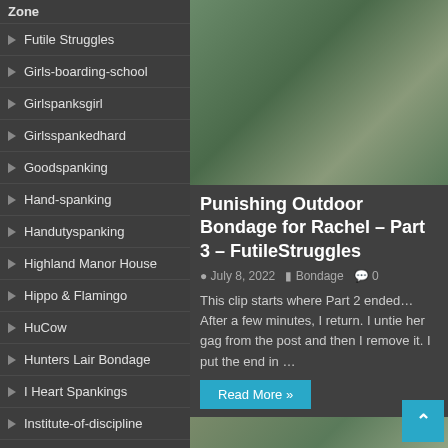Zone
Futile Struggles
Girls-boarding-school
Girlspanksgirl
Girlsspankedhard
Goodspanking
Hand-spanking
Handutyspanking
Highland Manor House
Hippo & Flamingo
HuCow
Hunters Lair Bondage
I Heart Spankings
Institute-of-discipline
Kelly Payne Collection
[Figure (photo): Outdoor bondage photo]
Punishing Outdoor Bondage for Rachel – Part 3 – FutileStruggles
July 8, 2022   Bondage   0
This clip starts where Part 2 ended… After a few minutes, I return. I untie her gag from the post and then I remove it. I put the end in …
Read More »
[Figure (photo): Second article thumbnail photo]